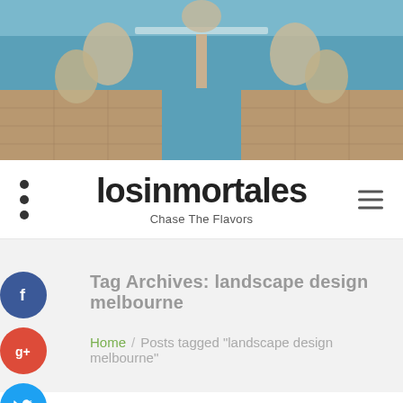[Figure (photo): Outdoor patio scene with wicker furniture set around a glass-top table, adjacent to a swimming pool with blue water, stone tile flooring]
losinmortales
Chase The Flavors
Tag Archives: landscape design melbourne
Home / Posts tagged "landscape design melbourne"